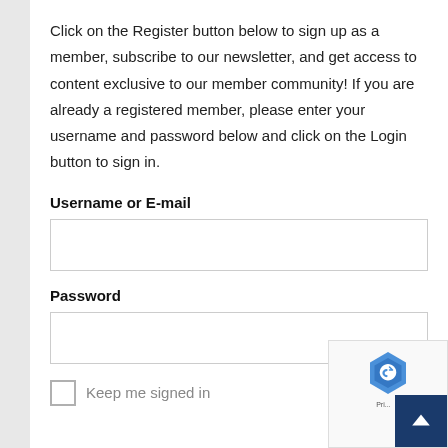Click on the Register button below to sign up as a member, subscribe to our newsletter, and get access to content exclusive to our member community! If you are already a registered member, please enter your username and password below and click on the Login button to sign in.
Username or E-mail
Password
Keep me signed in